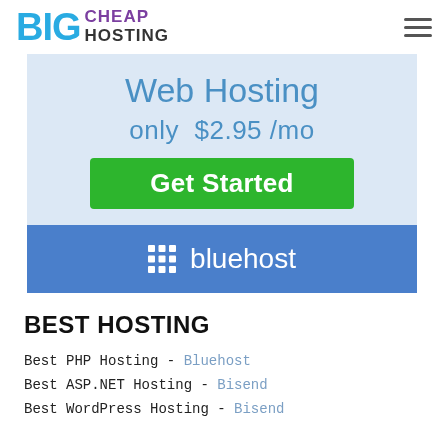BIG CHEAP HOSTING
[Figure (infographic): Web Hosting promotional banner with price 'only $2.95 /mo' and a green 'Get Started' button, on a light blue background, with a Bluehost blue bar below.]
BEST HOSTING
Best PHP Hosting - Bluehost
Best ASP.NET Hosting - Bisend
Best WordPress Hosting - Bisend